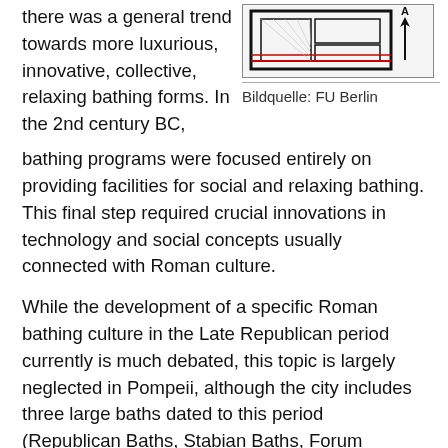there was a general trend towards more luxurious, innovative, collective, relaxing bathing forms. In the 2nd century BC, bathing programs were focused entirely on providing facilities for social and relaxing bathing. This final step required crucial innovations in technology and social concepts usually connected with Roman culture.
[Figure (illustration): Architectural floor plan or blueprint diagram, partially shown, with red and black lines on white background, labeled with an arrow and the letter A.]
Bildquelle: FU Berlin
While the development of a specific Roman bathing culture in the Late Republican period currently is much debated, this topic is largely neglected in Pompeii, although the city includes three large baths dated to this period (Republican Baths, Stabian Baths, Forum Baths). This project examines the development, function, and cultural and sociohistorical context of the Republican Baths and Stabian Baths at Pompeii and their role in the urban development.
With its comprehensive reassessment of two key areas